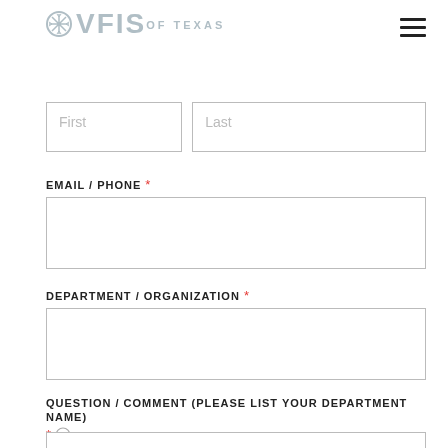[Figure (logo): VFIS of Texas logo with snowflake icon and hamburger menu icon in top right]
First
Last
EMAIL / PHONE *
DEPARTMENT / ORGANIZATION *
QUESTION / COMMENT (PLEASE LIST YOUR DEPARTMENT NAME) * (?)